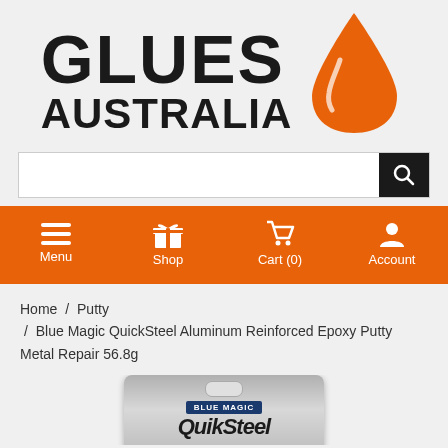[Figure (logo): Glues Australia logo with large bold text 'GLUES' and 'AUSTRALIA' beside an orange teardrop/droplet icon]
[Figure (screenshot): Search bar with white input field and black search button with magnifying glass icon]
[Figure (infographic): Orange navigation bar with four icons and labels: Menu (hamburger icon), Shop (gift box icon), Cart (0) (shopping cart icon), Account (person icon)]
Home / Putty / Blue Magic QuickSteel Aluminum Reinforced Epoxy Putty Metal Repair 56.8g
[Figure (photo): Partial product image of Blue Magic QuickSteel package, silver/grey blister card with blue BLUE MAGIC brand label and stylised QuikSteel product name text]